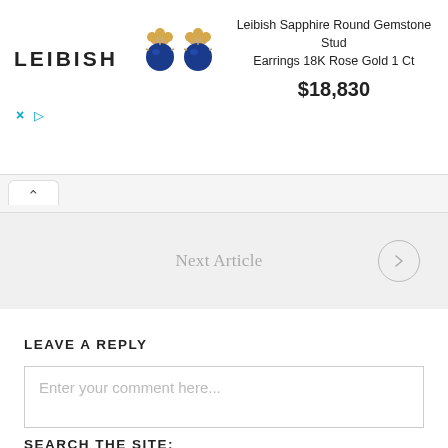[Figure (screenshot): Advertisement banner for Leibish jewelry showing logo, sapphire stud earrings image, product name 'Leibish Sapphire Round Gemstone Stud Earrings 18K Rose Gold 1 Ct', price '$18,830', and ad controls (X and play button)]
Next Article →
LEAVE A REPLY
Enter your comment here...
SEARCH THE SITE: